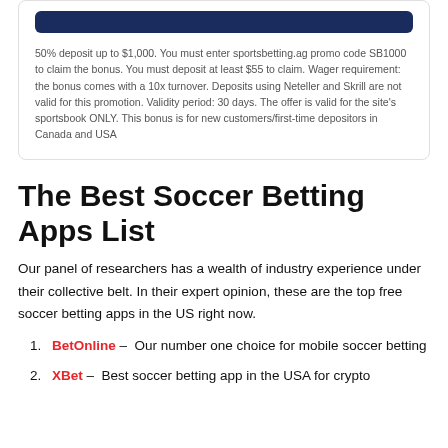50% deposit up to $1,000. You must enter sportsbetting.ag promo code SB1000 to claim the bonus. You must deposit at least $55 to claim. Wager requirement: the bonus comes with a 10x turnover. Deposits using Neteller and Skrill are not valid for this promotion. Validity period: 30 days. The offer is valid for the site's sportsbook ONLY. This bonus is for new customers/first-time depositors in Canada and USA
The Best Soccer Betting Apps List
Our panel of researchers has a wealth of industry experience under their collective belt. In their expert opinion, these are the top free soccer betting apps in the US right now.
BetOnline – Our number one choice for mobile soccer betting
XBet – Best soccer betting app in the USA for crypto